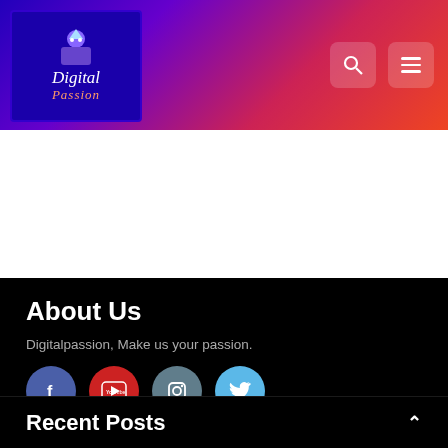[Figure (logo): Digital Passion website logo with icon and stylized text on purple background]
[Figure (screenshot): Navigation header with search icon and hamburger menu on gradient purple-red background]
Digitalpassion, Make us your passion.
About Us
[Figure (infographic): Social media icons row: Facebook (blue), YouTube (red), Instagram (steel blue), Twitter (light blue)]
Recent Posts